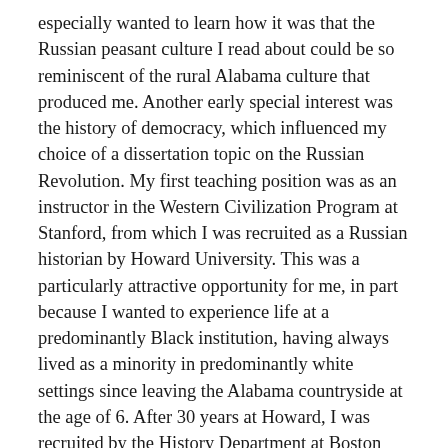especially wanted to learn how it was that the Russian peasant culture I read about could be so reminiscent of the rural Alabama culture that produced me. Another early special interest was the history of democracy, which influenced my choice of a dissertation topic on the Russian Revolution. My first teaching position was as an instructor in the Western Civilization Program at Stanford, from which I was recruited as a Russian historian by Howard University. This was a particularly attractive opportunity for me, in part because I wanted to experience life at a predominantly Black institution, having always lived as a minority in predominantly white settings since leaving the Alabama countryside at the age of 6. After 30 years at Howard, I was recruited by the History Department at Boston University to join it and the University's African American Studies Program that situates African American Studies in a global perspective.